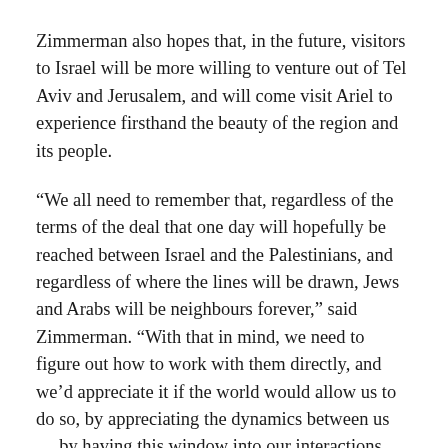Zimmerman also hopes that, in the future, visitors to Israel will be more willing to venture out of Tel Aviv and Jerusalem, and will come visit Ariel to experience firsthand the beauty of the region and its people.
“We all need to remember that, regardless of the terms of the deal that one day will hopefully be reached between Israel and the Palestinians, and regardless of where the lines will be drawn, Jews and Arabs will be neighbours forever,” said Zimmerman. “With that in mind, we need to figure out how to work with them directly, and we’d appreciate it if the world would allow us to do so, by appreciating the dynamics between us … by having this window into our interactions.
“However, the objective of Talk17 is not for me to